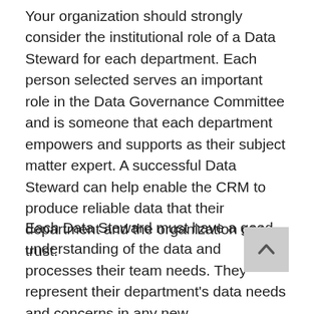Your organization should strongly consider the institutional role of a Data Steward for each department. Each person selected serves an important role in the Data Governance Committee and is someone that each department empowers and supports as their subject matter expert. A successful Data Steward can help enable the CRM to produce reliable data that their department and the organization can trust.
Each Data Steward must have a good understanding of the data and processes their team needs. They represent their department's data needs and concerns in any new recommendation being brought for discussion or approval at the Data Governance Committee meetings. They should be empowered to discuss updates from the Data Governance Committee